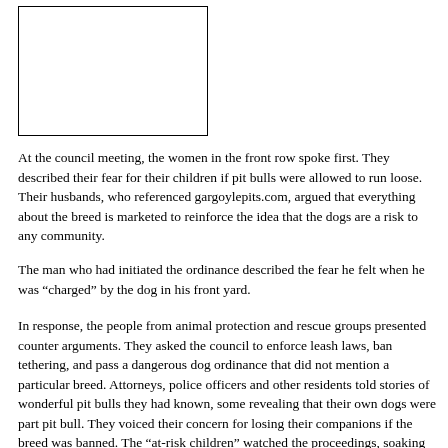[Figure (other): Empty rectangular box placeholder image]
At the council meeting, the women in the front row spoke first. They described their fear for their children if pit bulls were allowed to run loose. Their husbands, who referenced gargoylepits.com, argued that everything about the breed is marketed to reinforce the idea that the dogs are a risk to any community.
The man who had initiated the ordinance described the fear he felt when he was “charged” by the dog in his front yard.
In response, the people from animal protection and rescue groups presented counter arguments. They asked the council to enforce leash laws, ban tethering, and pass a dangerous dog ordinance that did not mention a particular breed. Attorneys, police officers and other residents told stories of wonderful pit bulls they had known, some revealing that their own dogs were part pit bull. They voiced their concern for losing their companions if the breed was banned. The “at-risk children” watched the proceedings, soaking up the rhetoric.